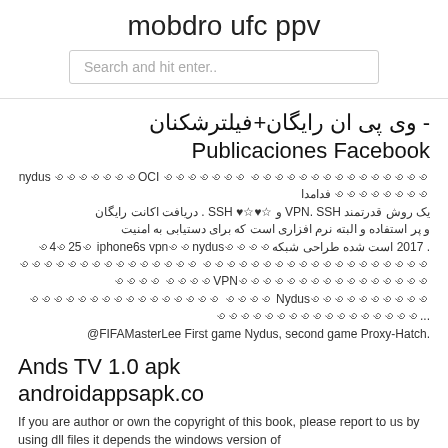mobdro ufc ppv
Search and hit enter..
- وی پی ان رایگان+فیلترشکنان Publicaciones Facebook
فدامدا nydus ꩜꩜꩜꩜꩜꩜꩜OCI ꩜꩜꩜꩜꩜꩜꩜ ꩜꩜꩜꩜꩜꩜꩜꩜꩜꩜꩜꩜꩜꩜꩜꩜꩜꩜꩜꩜꩜꩜꩜ یک روش قدرتمند VPN. SSH و SSH ♥☆♥☆ . دریافت اکانت رایگان و پر استفاده و البته نرم افزاری است که برای دستیابی به امنیت 2017 است. شده طراحی شبکه꩜4꩜25꩜ iphone6s vpn꩜꩜nydus꩜꩜꩜꩜ ꩜꩜꩜꩜꩜꩜꩜꩜꩜꩜꩜꩜꩜꩜꩜ ꩜꩜꩜꩜꩜꩜꩜꩜꩜꩜꩜꩜꩜꩜꩜꩜꩜꩜꩜꩜꩜꩜꩜  ꩜꩜꩜꩜VPN꩜꩜꩜꩜꩜꩜꩜꩜꩜꩜꩜꩜꩜꩜꩜꩜ ꩜꩜꩜꩜꩜꩜꩜꩜꩜꩜꩜꩜꩜꩜꩜꩜ ꩜꩜꩜꩜ Nydus꩜꩜꩜꩜꩜꩜꩜꩜꩜꩜꩜꩜꩜꩜꩜꩜꩜꩜꩜꩜꩜꩜꩜꩜꩜꩜꩜... @FIFAMasterLee First game Nydus, second game Proxy-Hatch.
Ands TV 1.0 apk androidappsapk.co
If you are author or own the copyright of this book, please report to us by using dll files it depends the windows version of